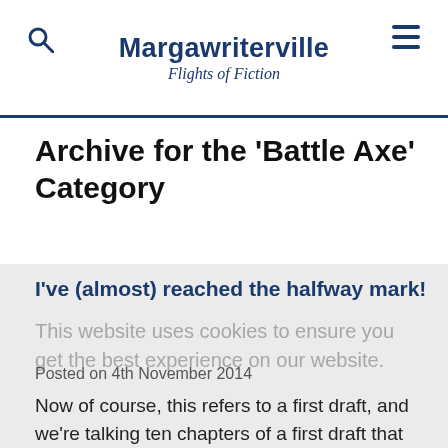Margawriterville Flights of Fiction
Archive for the ‘Battle Axe’ Category
I’ve (almost) reached the halfway mark!
Posted on 4th November 2014
This website uses cookies to ensure you get the best experience on our website.
Now of course, this refers to a first draft, and we’re talking ten chapters of a first draft that may ultimately have more than 20 chapters, but that’s all I’ve outlined so far. So this is a very qualified celebration. But it feels like progress nonetheless. As avid readers of this blog know (Lock him up! He’s referring to